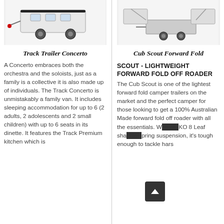[Figure (photo): Photo of Track Trailer Concerto caravan/camper trailer, white, viewed from rear-side angle]
Track Trailer Concerto
A Concerto embraces both the orchestra and the soloists, just as a family is a collective it is also made up of individuals. The Track Concerto is unmistakably a family van. It includes sleeping accommodation for up to 6 (2 adults, 2 adolescents and 2 small children) with up to 6 seats in its dinette. It features the Track Premium kitchen which is
[Figure (photo): Photo of Cub Scout Forward Fold camper trailer, viewed from side with canopy extended]
Cub Scout Forward Fold
SCOUT - LIGHTWEIGHT FORWARD FOLD OFF ROADER
The Cub Scout is one of the lightest forward fold camper trailers on the market and the perfect camper for those looking to get a 100% Australian Made forward fold off roader with all the essentials. With AL-KO 8 Leaf shackle spring suspension, it's tough enough to tackle harsh